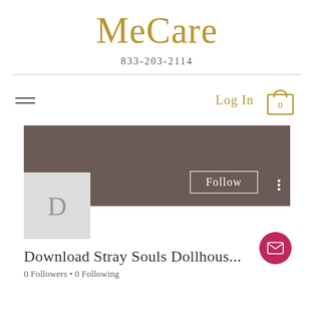[Figure (logo): MeCare script logo in gold/tan color]
833-203-2114
[Figure (screenshot): Navigation bar with hamburger menu on left, Log In text and cart icon with 0 on right]
[Figure (screenshot): User profile banner with dark brown/mauve background, Follow button, avatar with letter D, profile name 'Download Stray Souls Dollhous...', 0 Followers • 0 Following, and email FAB button]